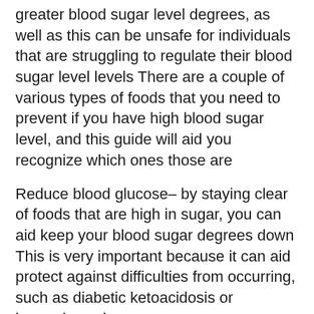greater blood sugar level degrees, as well as this can be unsafe for individuals that are struggling to regulate their blood sugar level levels There are a couple of various types of foods that you need to prevent if you have high blood sugar level, and this guide will aid you recognize which ones those are
Reduce blood glucose– by staying clear of foods that are high in sugar, you can aid keep your blood sugar degrees down This is very important because it can aid protect against difficulties from occurring, such as diabetic ketoacidosis or hyperglycemia
Manage blood sugar– among the best ways to manage your blood sugar level is to take in a well balanced diet plan that includes lots